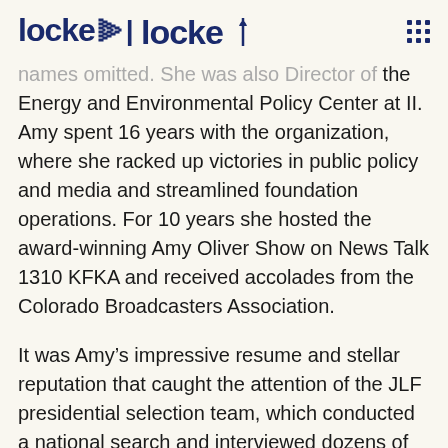locke (logo with flame icon) and grid menu icon
...names omitted. She was also Director of the Energy and Environmental Policy Center at II. Amy spent 16 years with the organization, where she racked up victories in public policy and media and streamlined foundation operations. For 10 years she hosted the award-winning Amy Oliver Show on News Talk 1310 KFKA and received accolades from the Colorado Broadcasters Association.
It was Amy’s impressive resume and stellar reputation that caught the attention of the JLF presidential selection team, which conducted a national search and interviewed dozens of potential leaders. John Hood, who chairs the John Locke Foundation board of directors, said she